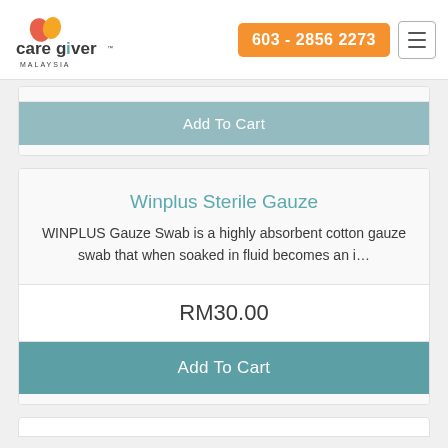caregiver MALAYSIA | 603 - 2856 2273
Add To Cart
Winplus Sterile Gauze
WINPLUS Gauze Swab is a highly absorbent cotton gauze swab that when soaked in fluid becomes an i...
RM30.00
Add To Cart